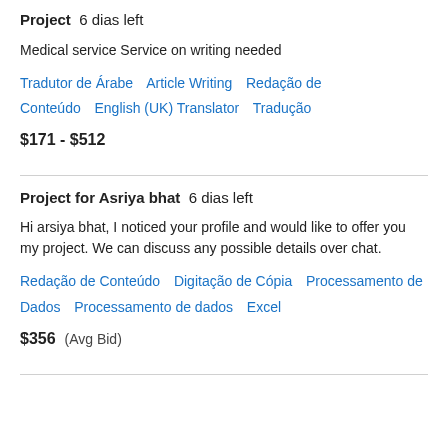Project  6 dias left
Medical service Service on writing needed
Tradutor de Árabe   Article Writing   Redação de Conteúdo   English (UK) Translator   Tradução
$171 - $512
Project for Asriya bhat  6 dias left
Hi arsiya bhat, I noticed your profile and would like to offer you my project. We can discuss any possible details over chat.
Redação de Conteúdo   Digitação de Cópia   Processamento de Dados   Processamento de dados   Excel
$356  (Avg Bid)